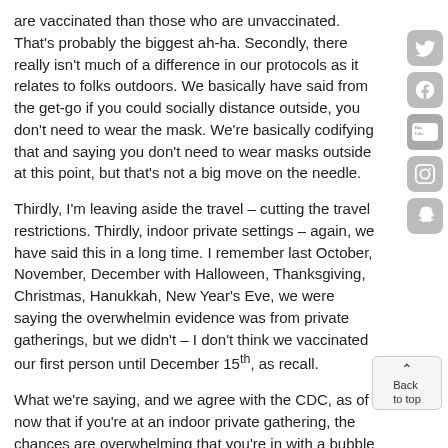are vaccinated than those who are unvaccinated. That's probably the biggest ah-ha. Secondly, there really isn't much of a difference in our protocols as it relates to folks outdoors. We basically have said from the get-go if you could socially distance outside, you don't need to wear the mask. We're basically codifying that and saying you don't need to wear masks outside at this point, but that's not a big move on the needle.
Thirdly, I'm leaving aside the travel – cutting the travel restrictions. Thirdly, indoor private settings – again, we have said this in a long time. I remember last October, November, December with Halloween, Thanksgiving, Christmas, Hanukkah, New Year's Eve, we were saying the overwhelming evidence was from private gatherings, but we didn't – I don't think we vaccinated our first person until December 15th, as recall.
What we're saying, and we agree with the CDC, as of now that if you're at an indoor private gathering, the chances are overwhelming that you're in with a bubble that you've been with. It's just that we think we had this thing on the run, and as it relates to public places we're just not there yet. We're putting an enormous burden on the retail employee or the maitre d' or you pick your – the guy at the hardware store to make them become the adjudicator between prove to me that